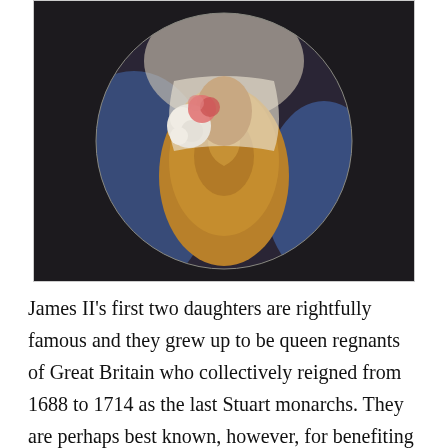[Figure (photo): A circular-cropped detail of a Baroque-era portrait painting showing a woman in a golden embroidered bodice with blue drapery and white floral decorations at the chest, against a dark background.]
James II's first two daughters are rightfully famous and they grew up to be queen regnants of Great Britain who collectively reigned from 1688 to 1714 as the last Stuart monarchs. They are perhaps best known, however, for benefiting from their father's dethronement during the Glorious Revolution, which resulted from their